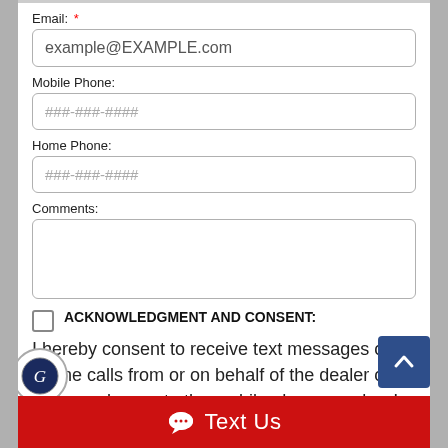Email: *
example@EXAMPLE.com
Mobile Phone:
###-###-####
Home Phone:
###-###-####
Comments:
ACKNOWLEDGMENT AND CONSENT:
I hereby consent to receive text messages or phone calls from or on behalf of the dealer or their employees to the mobile phone number I provided above. By opting in, I understand that message and data rates may apply. This acknowledgement constitutes my written consent